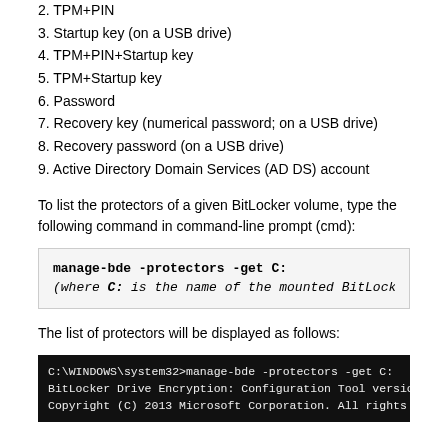2. TPM+PIN
3. Startup key (on a USB drive)
4. TPM+PIN+Startup key
5. TPM+Startup key
6. Password
7. Recovery key (numerical password; on a USB drive)
8. Recovery password (on a USB drive)
9. Active Directory Domain Services (AD DS) account
To list the protectors of a given BitLocker volume, type the following command in command-line prompt (cmd):
[Figure (screenshot): Code box showing: manage-bde -protectors -get C: (where C: is the name of the mounted BitLocker-]
The list of protectors will be displayed as follows:
[Figure (screenshot): Command prompt screenshot showing: C:\WINDOWS\system32>manage-bde -protectors -get C:  BitLocker Drive Encryption: Configuration Tool version 6.3.9600  Copyright (C) 2013 Microsoft Corporation. All rights reserved.]